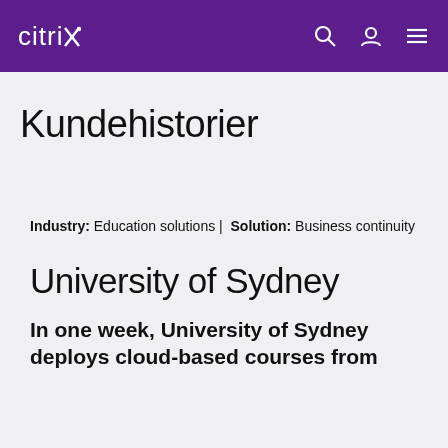citrix
Kundehistorier
Industry: Education solutions | Solution: Business continuity
University of Sydney
In one week, University of Sydney deploys cloud-based courses from